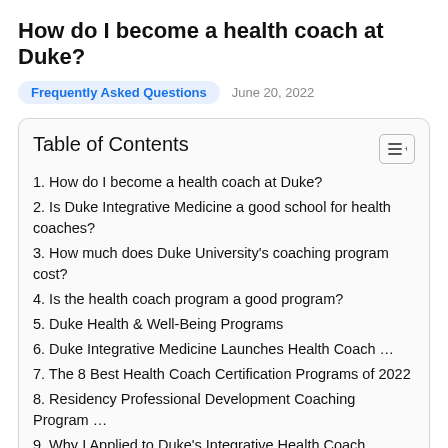How do I become a health coach at Duke?
Frequently Asked Questions   June 20, 2022
Table of Contents
1. How do I become a health coach at Duke?
2. Is Duke Integrative Medicine a good school for health coaches?
3. How much does Duke University's coaching program cost?
4. Is the health coach program a good program?
5. Duke Health & Well-Being Programs
6. Duke Integrative Medicine Launches Health Coach …
7. The 8 Best Health Coach Certification Programs of 2022
8. Residency Professional Development Coaching Program …
9. Why I Applied to Duke's Integrative Health Coach Training …
10. How to Enroll in Healthy Duke Coaching Programs
11. Integrative Health Coach Professional Training – Online